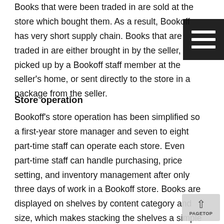Books that were been traded in are sold at the store which bought them. As a result, Bookoff has very short supply chain. Books that are traded in are either brought in by the seller, picked up by a Bookoff staff member at the seller's home, or sent directly to the store in a package from the seller.
Store operation
Bookoff's store operation has been simplified so a first-year store manager and seven to eight part-time staff can operate each store. Even part-time staff can handle purchasing, price setting, and inventory management after only three days of work in a Bookoff store. Books are displayed on shelves by content category and size, which makes stacking the shelves a simple process. Specifically,